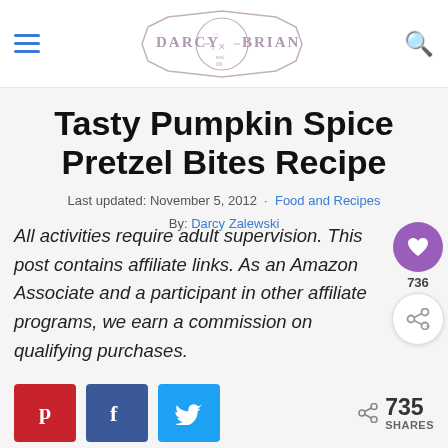DARCY & BRIAN
Tasty Pumpkin Spice Pretzel Bites Recipe
Last updated: November 5, 2012 · Food and Recipes
By: Darcy Zalewski
All activities require adult supervision. This post contains affiliate links. As an Amazon Associate and a participant in other affiliate programs, we earn a commission on qualifying purchases.